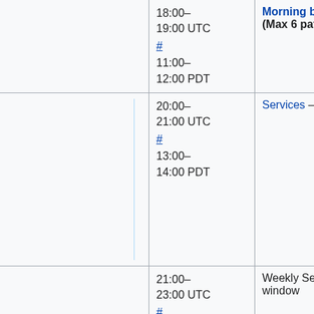|  | Time | Description |
| --- | --- | --- |
|  | 18:00–19:00 UTC # 11:00–12:00 PDT | Morning backport window (Max 6 patches) |
|  | 20:00–21:00 UTC # 13:00–14:00 PDT | Services – Graphoid / ORES |
|  | 21:00–23:00 UTC # 14:00– | Weekly Security deployment window |